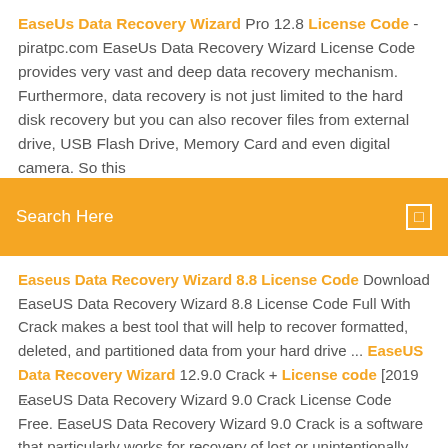EaseUs Data Recovery Wizard Pro 12.8 License Code - piratpc.com EaseUs Data Recovery Wizard License Code provides very vast and deep data recovery mechanism. Furthermore, data recovery is not just limited to the hard disk recovery but you can also recover files from external drive, USB Flash Drive, Memory Card and even digital camera. So this
[Figure (screenshot): Orange search bar with text 'Search Here' and a small square search icon on the right]
Easeus Data Recovery Wizard 8.8 License Code Download EaseUS Data Recovery Wizard 8.8 License Code Full With Crack makes a best tool that will help to recover formatted, deleted, and partitioned data from your hard drive ... EaseUS Data Recovery Wizard 12.9.0 Crack + License code [2019 ...
EaseUS Data Recovery Wizard 9.0 Crack License Code Free. EaseUS Data Recovery Wizard 9.0 Crack is a software that particularly works for recovery of lost or unintentionally deleted